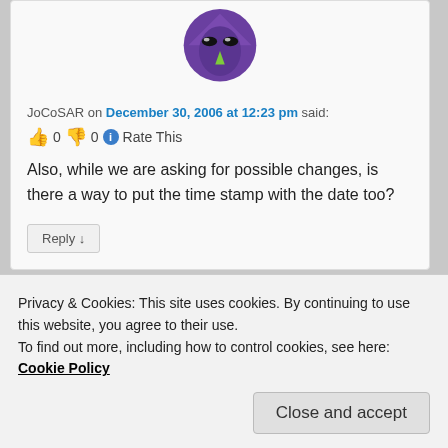[Figure (illustration): Alien avatar with purple hood, green face, black eyes and white fang]
JoCoSAR on December 30, 2006 at 12:23 pm said:
👍 0 👎 0 ℹ Rate This
Also, while we are asking for possible changes, is there a way to put the time stamp with the date too?
Reply ↓
[Figure (illustration): Green emoji with glasses avatar]
Privacy & Cookies: This site uses cookies. By continuing to use this website, you agree to their use.
To find out more, including how to control cookies, see here: Cookie Policy
Close and accept